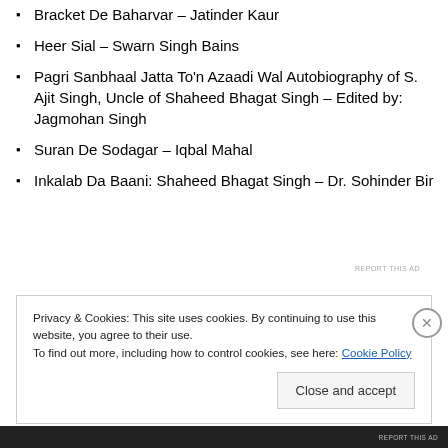Bracket De Baharvar – Jatinder Kaur
Heer Sial – Swarn Singh Bains
Pagri Sanbhaal Jatta To'n Azaadi Wal Autobiography of S. Ajit Singh, Uncle of Shaheed Bhagat Singh – Edited by: Jagmohan Singh
Suran De Sodagar – Iqbal Mahal
Inkalab Da Baani: Shaheed Bhagat Singh – Dr. Sohinder Bir
Privacy & Cookies: This site uses cookies. By continuing to use this website, you agree to their use.
To find out more, including how to control cookies, see here: Cookie Policy
Close and accept